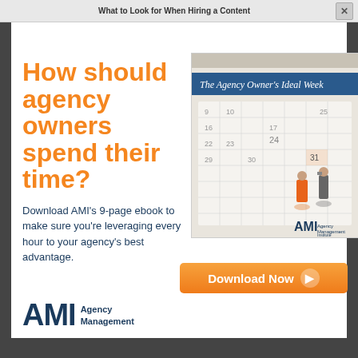What to Look for When Hiring a Content | × LCEO D...
How should agency owners spend their time?
Download AMI's 9-page ebook to make sure you're leveraging every hour to your agency's best advantage.
[Figure (photo): Book cover titled 'The Agency Owner's Ideal Week' showing a calendar with miniature figurines and AMI logo]
Download Now →
[Figure (logo): AMI Agency Management Institute logo in navy blue]